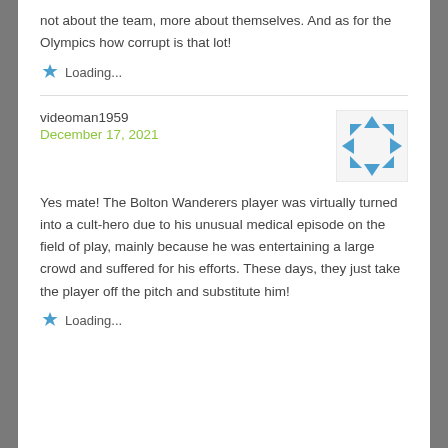not about the team, more about themselves. And as for the Olympics how corrupt is that lot!
Loading...
videoman1959
December 17, 2021
[Figure (illustration): Decorative avatar icon with blue geometric arrow/triangle pattern on white background]
Yes mate! The Bolton Wanderers player was virtually turned into a cult-hero due to his unusual medical episode on the field of play, mainly because he was entertaining a large crowd and suffered for his efforts. These days, they just take the player off the pitch and substitute him!
Loading...